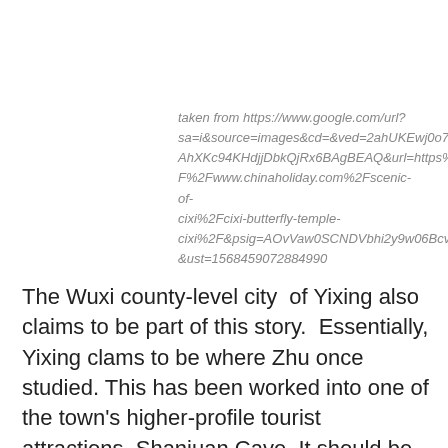taken from https://www.google.com/url?sa=i&source=images&cd=&ved=2ahUKEwj0o7zF083kAhXKc94KHdjjDbkQjRx6BAgBEAQ&url=https%3A%2F%2Fwww.chinaholiday.com%2Fscenic-of-cixi%2Fcixi-butterfly-temple-cixi%2F&psig=AOvVaw0SCNDVbhi2y9w06BcvuuG-&ust=1568459072884990
The Wuxi county-level city  of Yixing also claims to be part of this story.  Essentially, Yixing clams to be where Zhu once studied. This has been worked into one of the town's higher-profile tourist attractions, Shanjuan Cave. It should be noted that this legend is not the whole story of the cave — just a part. Once one sees the cavern, a garden / courtyard dubbed Yingtai Academy is next. This is essentially near the exit and a cable car station.